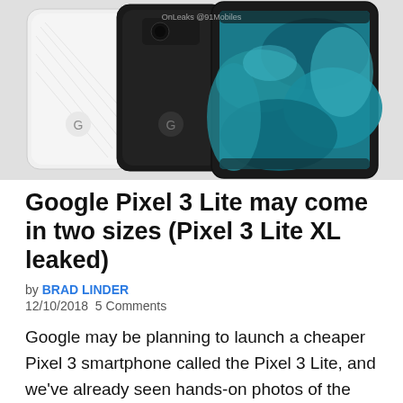[Figure (photo): Rendered image of Google Pixel 3 smartphones shown from back and front, in white and black/dark colorways, arranged overlapping. Watermark text 'OnLeaks @91Mobiles' visible at top center.]
Google Pixel 3 Lite may come in two sizes (Pixel 3 Lite XL leaked)
by BRAD LINDER
12/10/2018 5 Comments
Google may be planning to launch a cheaper Pixel 3 smartphone called the Pixel 3 Lite, and we've already seen hands-on photos of the phone a few times. But it looks like the Pixel 3 Lite may not be the only new Pixel on the way. 91mobiles and @OnLeaks have shared a set of images f...